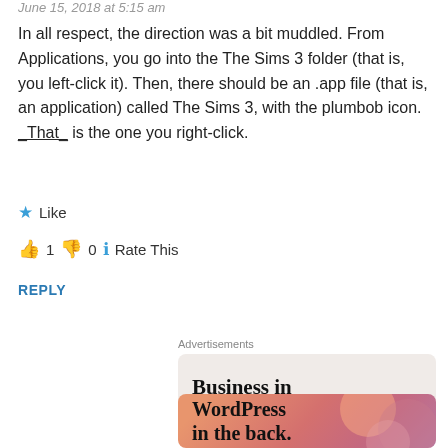June 15, 2018 at 5:15 am
In all respect, the direction was a bit muddled. From Applications, you go into the The Sims 3 folder (that is, you left-click it). Then, there should be an .app file (that is, an application) called The Sims 3, with the plumbob icon. _That_ is the one you right-click.
★ Like
👍 1 👎 0 ℹ Rate This
REPLY
Advertisements
[Figure (screenshot): Advertisement banner showing 'Business in the front...' text on a light gray/beige background, and 'WordPress in the back.' text on an orange-pink gradient background.]